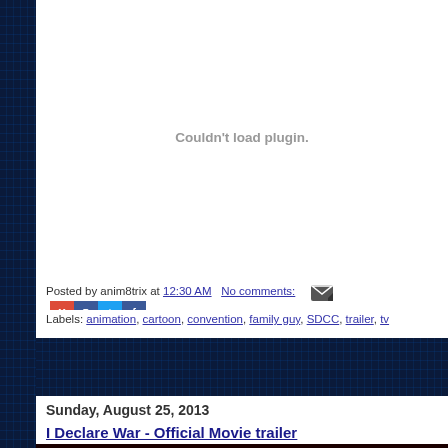[Figure (screenshot): Plugin error placeholder area with 'Couldn't load plugin.' message in gray text]
Posted by anim8trix at 12:30 AM   No comments:   [email icon] [social icons]
Labels: animation, cartoon, convention, family guy, SDCC, trailer, tv
Sunday, August 25, 2013
I Declare War - Official Movie trailer